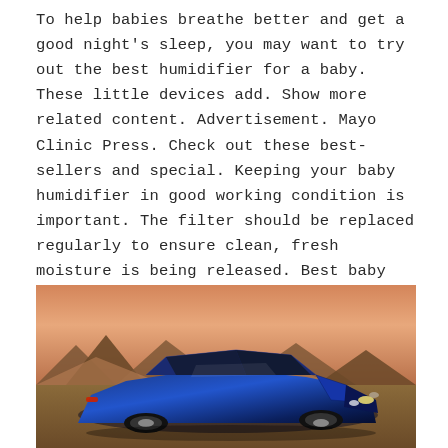To help babies breathe better and get a good night's sleep, you may want to try out the best humidifier for a baby. These little devices add. Show more related content. Advertisement. Mayo Clinic Press. Check out these best-sellers and special. Keeping your baby humidifier in good working condition is important. The filter should be replaced regularly to ensure clean, fresh moisture is being released. Best baby humidifiers · Babymoov Hygro Plus Ultrasonic Humidifier · Challenge Ultrasonic Humidifier · Vicks Sweet Dreams Cool Mist Humidifier · Cadrim. Cool mist humidifiers and vaporisers: why they are useful for a baby with a cold and four best-sellers. Plus the best vapour rubs and oils to ease.
[Figure (photo): A blue Lexus sports car photographed in a desert landscape with mountains and a warm sunset sky in the background.]